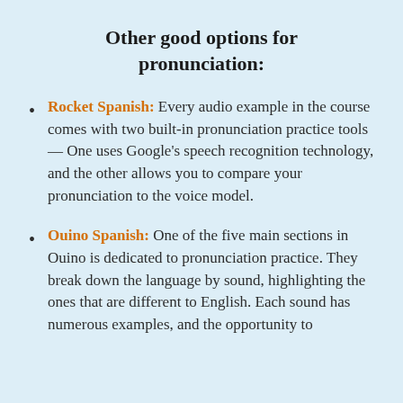Other good options for pronunciation:
Rocket Spanish: Every audio example in the course comes with two built-in pronunciation practice tools — One uses Google's speech recognition technology, and the other allows you to compare your pronunciation to the voice model.
Ouino Spanish: One of the five main sections in Ouino is dedicated to pronunciation practice. They break down the language by sound, highlighting the ones that are different to English. Each sound has numerous examples, and the opportunity to